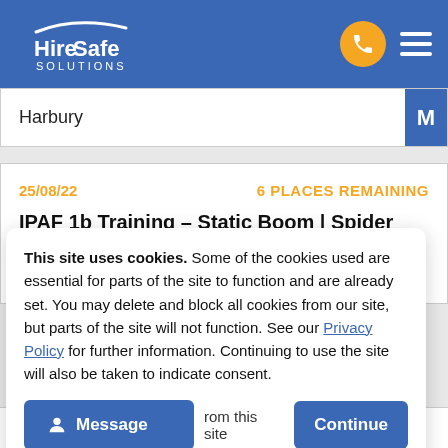HireSafe Solutions
Harbury
25/08/22    6 PLACES REMAINING
IPAF 1b Training – Static Boom | Spider Lift | Vehicle Mount
This site uses cookies. Some of the cookies used are essential for parts of the site to function and are already set. You may delete and block all cookies from our site, but parts of the site will not function. See our Privacy Policy for further information. Continuing to use the site will also be taken to indicate consent.
Message | rom this site | Continue